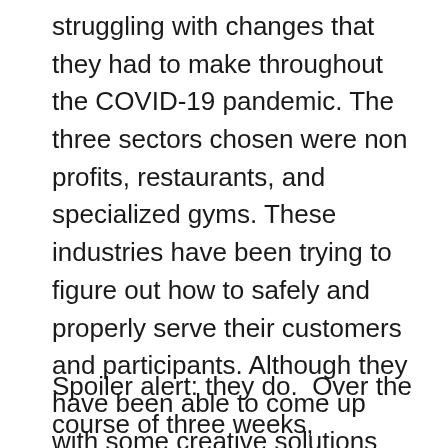struggling with changes that they had to make throughout the COVID-19 pandemic. The three sectors chosen were non profits, restaurants, and specialized gyms. These industries have been trying to figure out how to safely and properly serve their customers and participants. Although they have been able to come up with some creative solutions themselves, specific organizations from these three industries are looking to NYC youth to see if they have some insights to offer.
Spoiler alert: they do.  Over the course of three weeks, participants of the SYEP